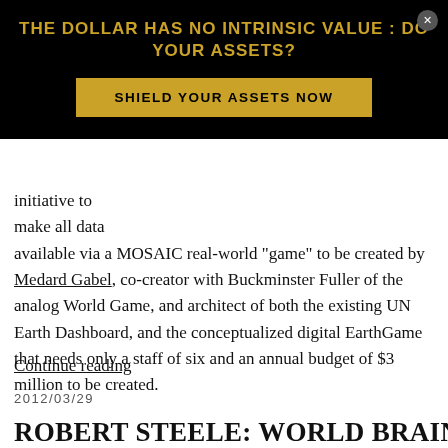[Figure (other): Advertisement banner with black background. Headline in gold text: 'THE DOLLAR HAS NO INTRINSIC VALUE : DO YOUR ASSETS?' with a gold call-to-action button 'SHIELD YOUR ASSETS NOW' and a close button (x).]
initiative to make all data available via a MOSAIC real-world "game" to be created by Medard Gabel, co-creator with Buckminster Fuller of the analog World Game, and architect of both the existing UN Earth Dashboard, and the conceptualized digital EarthGame that needs only a staff of six and an annual budget of $3 million to be created.
Continue reading
2012/03/29
ROBERT STEELE: WORLD BRAIN